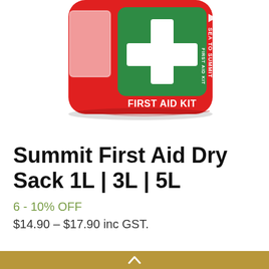[Figure (photo): Red Sea to Summit First Aid Dry Sack with green cross emblem and 'FIRST AID KIT' label on front, shown from above at an angle.]
Summit First Aid Dry Sack 1L | 3L | 5L
6 - 10% OFF
$14.90 – $17.90 inc GST.
Our First Aid Dry Sack is...